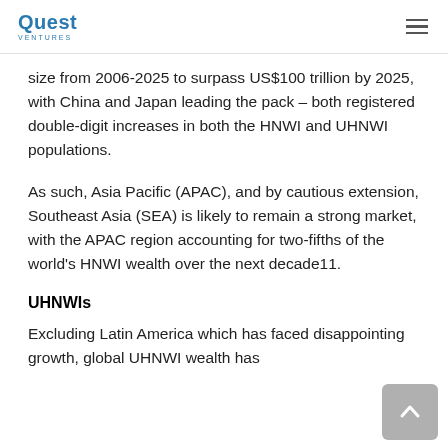Quest Ventures
size from 2006-2025 to surpass US$100 trillion by 2025, with China and Japan leading the pack – both registered double-digit increases in both the HNWI and UHNWI populations.
As such, Asia Pacific (APAC), and by cautious extension, Southeast Asia (SEA) is likely to remain a strong market, with the APAC region accounting for two-fifths of the world's HNWI wealth over the next decade11.
UHNWIs
Excluding Latin America which has faced disappointing growth, global UHNWI wealth has